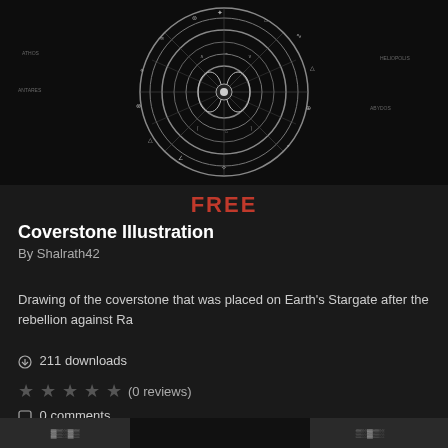[Figure (illustration): Black and white drawing of the Stargate coverstone — a circular stone tablet with concentric rings containing alien glyphs, symbols, and a central symmetrical design with two mirror-image faces. Ancient symbols and geometric patterns are visible around the rings.]
FREE
Coverstone Illustration
By Shalrath42
Drawing of the coverstone that was placed on Earth's Stargate after the rebellion against Ra
211 downloads
(0 reviews)
0 comments
Submitted July 20, 2020
[Figure (illustration): Partial bottom strip showing the beginning of another illustration below the main listing.]